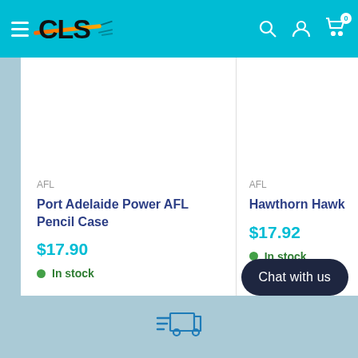[Figure (screenshot): CLS website header with hamburger menu, CLS logo with orange strike-through, and search/account/cart icons on teal background]
AFL
Port Adelaide Power AFL Pencil Case
$17.90
In stock
AFL
Hawthorn Hawks AF
$17.92
In stock
Chat with us